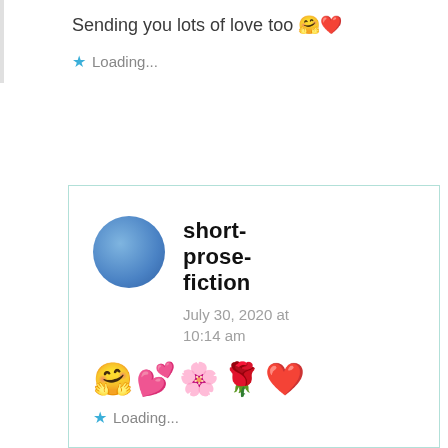Sending you lots of love too 🤗❤️
Loading...
short-prose-fiction
July 30, 2020 at 10:14 am
🤗💕🌸🌹❤️
Loading...